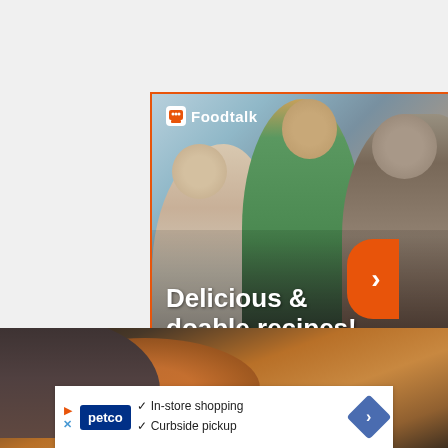[Figure (screenshot): Foodtalk advertisement banner showing a family cooking together — a girl, woman in green apron, and man — with text 'Delicious & doable recipes!' overlaid at bottom. Orange border, white Foodtalk logo top-left, blue X close button top-right.]
[Figure (photo): Partial view of a food dish (appears to be a pie or bread) on a dark wooden surface.]
[Figure (screenshot): Petco advertisement banner showing 'In-store shopping' and 'Curbside pickup' with checkmarks, Petco logo in blue box, navigation arrow on right.]